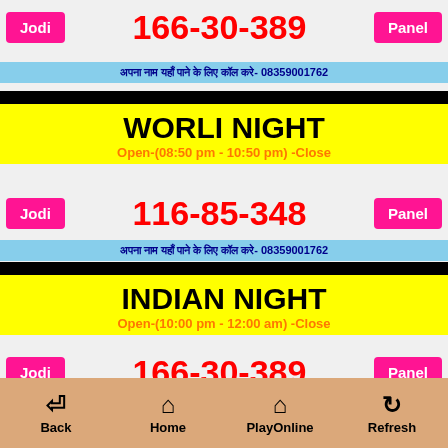Jodi  166-30-389  Panel
अपना नाम यहाँ पाने के लिए कॉल करे- 08359001762
WORLI NIGHT
Open-(08:50 pm - 10:50 pm) -Close
Jodi  116-85-348  Panel
अपना नाम यहाँ पाने के लिए कॉल करे- 08359001762
INDIAN NIGHT
Open-(10:00 pm - 12:00 am) -Close
Jodi  166-30-389  Panel
Play Game
अपना नाम यहाँ पाने के लिए कॉल करे- 08359001762
Back  Home  PlayOnline  Refresh